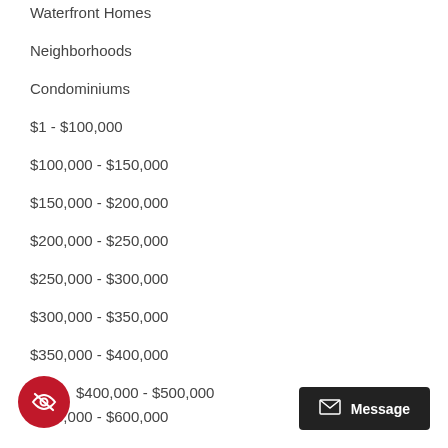Waterfront Homes
Neighborhoods
Condominiums
$1 - $100,000
$100,000 - $150,000
$150,000 - $200,000
$200,000 - $250,000
$250,000 - $300,000
$300,000 - $350,000
$350,000 - $400,000
$400,000 - $500,000
$500,000 - $600,000